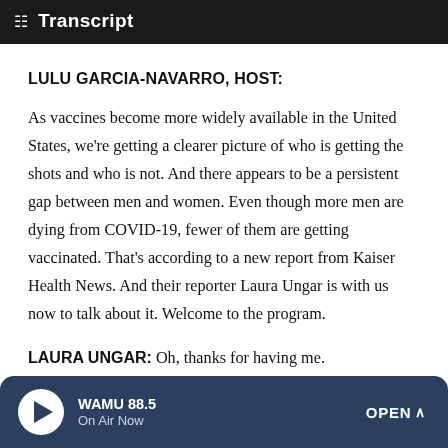Transcript
LULU GARCIA-NAVARRO, HOST:
As vaccines become more widely available in the United States, we're getting a clearer picture of who is getting the shots and who is not. And there appears to be a persistent gap between men and women. Even though more men are dying from COVID-19, fewer of them are getting vaccinated. That's according to a new report from Kaiser Health News. And their reporter Laura Ungar is with us now to talk about it. Welcome to the program.
LAURA UNGAR: Oh, thanks for having me.
WAMU 88.5 | On Air Now | OPEN ^